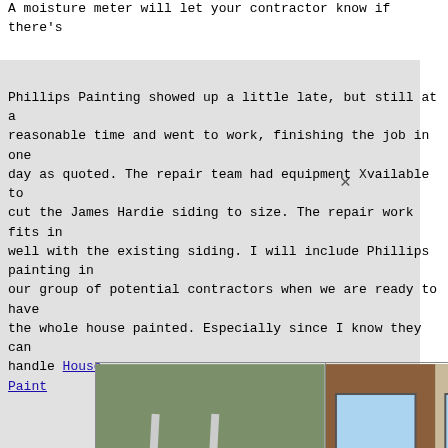A moisture meter will let your contractor know if there's
Phillips Painting showed up a little late, but still at a reasonable time and went to work, finishing the job in one day as quoted. The repair team had equipment available to cut the James Hardie siding to size. The repair work fits in well with the existing siding. I will include Phillips painting in our group of potential contractors when we are ready to have the whole house painted. Especially since I know they can handle House Painting
[Figure (photo): Three photos side by side showing people doing acrobatics on ladders next to houses, and a house painting scene]
"Tae k... him a... me a very d... I signed... daily. The pr... better than I... he house... House Painting
Once you find a painting pro you want to hire, be sure to
Once you find a painting pro you want to hire, be sure to have a detailed contract that includes the scope of work